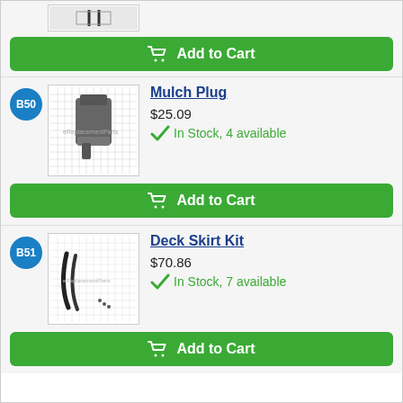[Figure (photo): Partial view of a product image (top cropped) on grid background]
Add to Cart
B50
[Figure (photo): Mulch Plug part photo on grid background]
Mulch Plug
$25.09
In Stock, 4 available
Add to Cart
B51
[Figure (photo): Deck Skirt Kit part photo showing two curved black metal strips]
Deck Skirt Kit
$70.86
In Stock, 7 available
Add to Cart